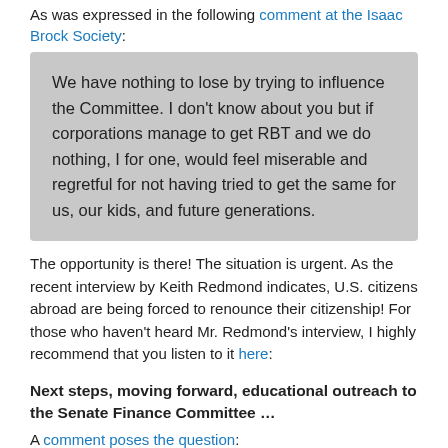As was expressed in the following comment at the Isaac Brock Society:
We have nothing to lose by trying to influence the Committee. I don't know about you but if corporations manage to get RBT and we do nothing, I for one, would feel miserable and regretful for not having tried to get the same for us, our kids, and future generations.
The opportunity is there! The situation is urgent. As the recent interview by Keith Redmond indicates, U.S. citizens abroad are being forced to renounce their citizenship! For those who haven't heard Mr. Redmond's interview, I highly recommend that you listen to it here:
Next steps, moving forward, educational outreach to the Senate Finance Committee …
A comment poses the question: